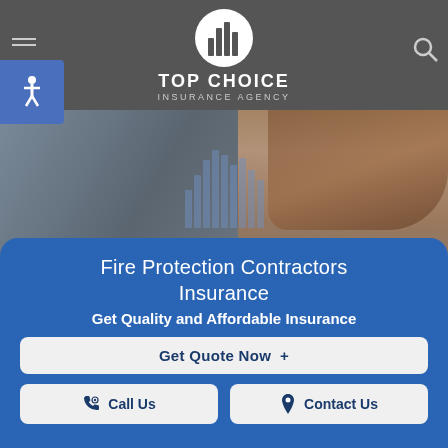[Figure (logo): Top Choice Insurance Agency logo — circular icon with bar chart bars inside, brand name TOP CHOICE INSURANCE AGENCY in white on dark grey header]
[Figure (photo): Hero photo of a young woman with long brown hair looking downward, dark background with a bar chart watermark overlay and the word Loading...]
Fire Protection Contractors Insurance
Get Quality and Affordable Insurance
Get Quote Now  +
Call Us
Contact Us